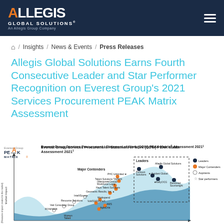ALLEGIS GLOBAL SOLUTIONS® An Allegis Group Company
🏠 / Insights / News & Events / Press Releases
Allegis Global Solutions Earns Fourth Consecutive Leader and Star Performer Recognition on Everest Group's 2021 Services Procurement PEAK Matrix Assessment
[Figure (other): Everest Group Services Procurement / Statement of Work (SOW) PEAK Matrix® Assessment 2021¹ scatter plot showing market impact vs. vision & capability, with labeled companies grouped into Leaders (Allegis Global Solutions, Pontoon Solutions, Guidant Global, KellyOCG, Randstad Sourceright), Major Contenders (PHC Unlimited, Talent Solutions TAPFIN/ManpowerGroup, Workforce Logiq, Hays Talent Solutions, Geometric Results Inc., IntelliSource, Workspend, Volt/D2/DZoneX, AMS, AgileDria, Resource Solutions, Vati Consulting Group, RONIN558, Morson Talent), and Aspirants.]